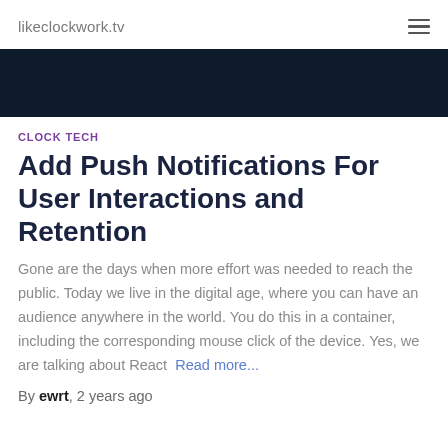likeclockwork.tv
[Figure (photo): Dark navy/black hero image banner at the top of the article]
CLOCK TECH
Add Push Notifications For User Interactions and Retention
Gone are the days when more effort was needed to reach the public. Today we live in the digital age, where you can have an audience anywhere in the world. You do this in a container, including the corresponding mouse click of the device. Yes, we are talking about React  Read more...
By ewrt, 2 years ago